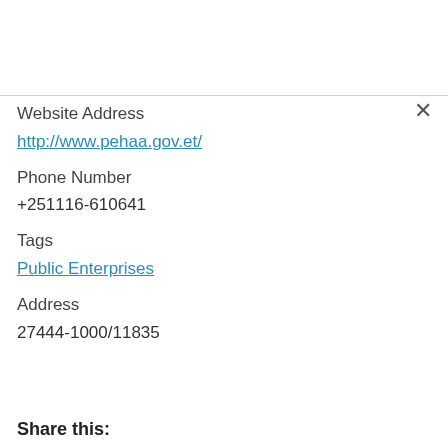Website Address
http://www.pehaa.gov.et/
Phone Number
+251116-610641
Tags
Public Enterprises
Address
27444-1000/11835
Share this: